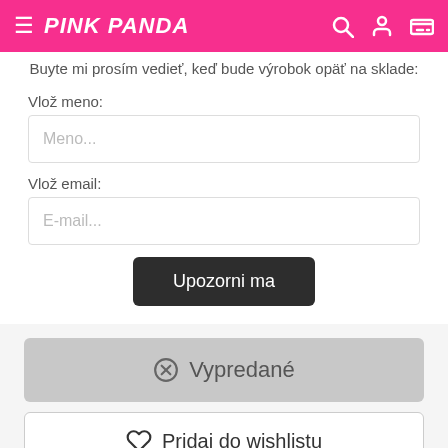PINK PANDA
Buyte mi prosím vedieť, keď bude výrobok opäť na sklade:
Vlož meno:
Meno...
Vlož email:
E-mail...
Upozorni ma
⊗ Vypredané
♡ Pridaj do wishlistu